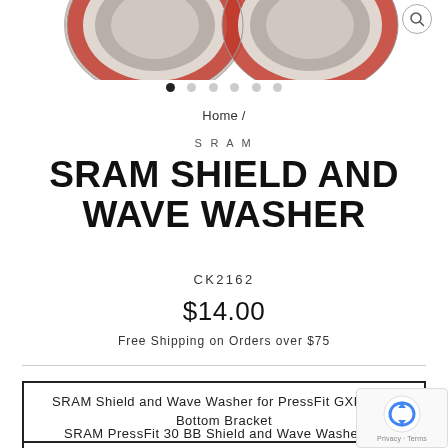[Figure (photo): Two red and grey circular washers (SRAM Shield and Wave Washer) shown from above, with a magnify button icon in the top right corner]
● ○ ○ ○ ○ ○  (image carousel dots)
Home /
SRAM
SRAM SHIELD AND WAVE WASHER
CK2162
$14.00
Free Shipping on Orders over $75
SRAM Shield and Wave Washer for PressFit GXP MTB Bottom Bracket
SRAM PressFit 30 BB Shield and Wave Washer Kit